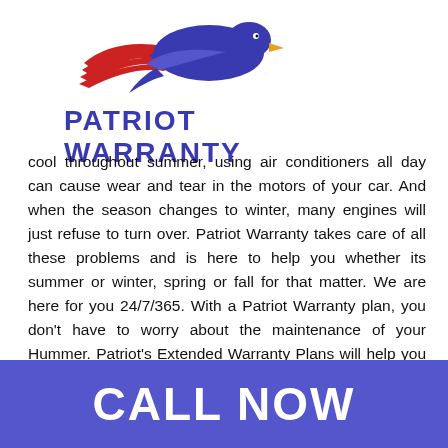[Figure (logo): Patriot Warranty eagle logo with red and blue wings and blue eagle head facing right]
PATRIOT WARRANTY
cool throughout summer, using air conditioners all day can cause wear and tear in the motors of your car. And when the season changes to winter, many engines will just refuse to turn over. Patriot Warranty takes care of all these problems and is here to help you whether its summer or winter, spring or fall for that matter. We are here for you 24/7/365. With a Patriot Warranty plan, you don't have to worry about the maintenance of your Hummer. Patriot's Extended Warranty Plans will help you save a lot of money and also take care of all the hassle on behalf of you!
CALL NOW